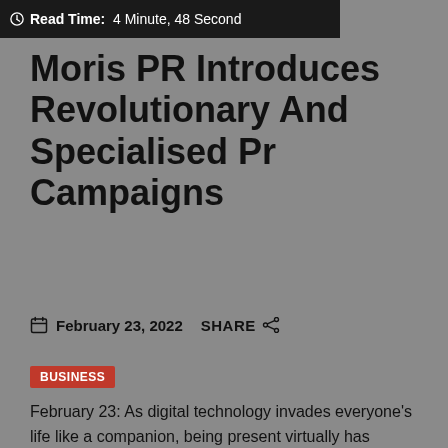Read Time: 4 Minute, 48 Second
Moris PR Introduces Revolutionary And Specialised Pr Campaigns
February 23, 2022   SHARE
BUSINESS
February 23: As digital technology invades everyone's life like a companion, being present virtually has become a necessity. Today, people from all walks of life...
[Figure (other): Blue card thumbnail at bottom of page]